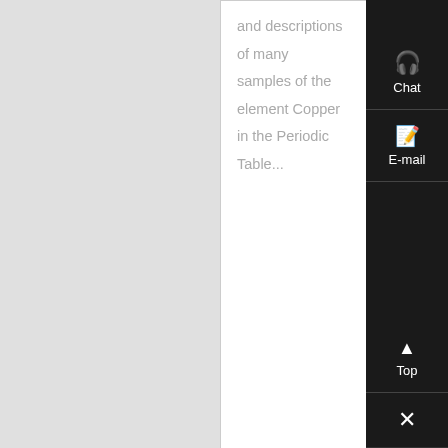and descriptions of many samples of the element Copper in the Periodic Table...
Know More
[Figure (photo): Industrial mining or crushing equipment, large blue machine on a construction/mining site]
Metals Products - CME Group
Trade the most liquid metals